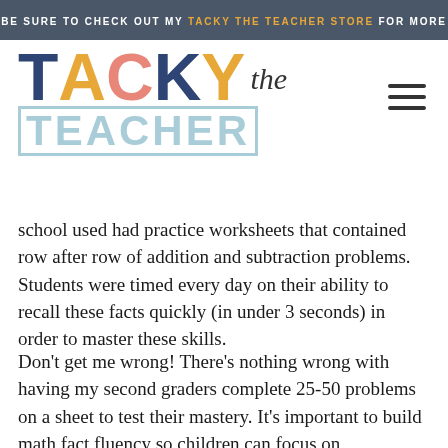BE SURE TO CHECK OUT MY TACKY THE TEACHER STORE FOR MORE
[Figure (logo): Tacky the Teacher logo with colorful bold letters TACKY in navy, gold, pink, navy, gold; 'the' in italic script; TEACHER in light blue outlined letters]
school used had practice worksheets that contained row after row of addition and subtraction problems. Students were timed every day on their ability to recall these facts quickly (in under 3 seconds) in order to master these skills.
Don't get me wrong! There's nothing wrong with having my second graders complete 25-50 problems on a sheet to test their mastery. It's important to build math fact fluency so children can focus on